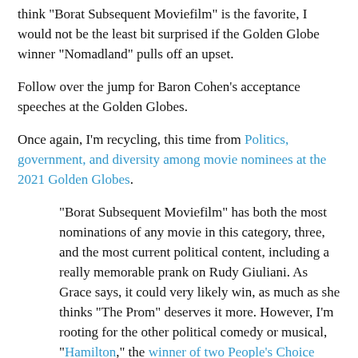think "Borat Subsequent Moviefilm" is the favorite, I would not be the least bit surprised if the Golden Globe winner "Nomadland" pulls off an upset.
Follow over the jump for Baron Cohen's acceptance speeches at the Golden Globes.
Once again, I'm recycling, this time from Politics, government, and diversity among movie nominees at the 2021 Golden Globes.
"Borat Subsequent Moviefilm" has both the most nominations of any movie in this category, three, and the most current political content, including a really memorable prank on Rudy Giuliani. As Grace says, it could very likely win, as much as she thinks "The Prom" deserves it more. However, I'm rooting for the other political comedy or musical, "Hamilton," the winner of two People's Choice Awards. I predicted then that "I expect the show will be nominated for...a Golden Globe or two" and the HFPA proved me right.